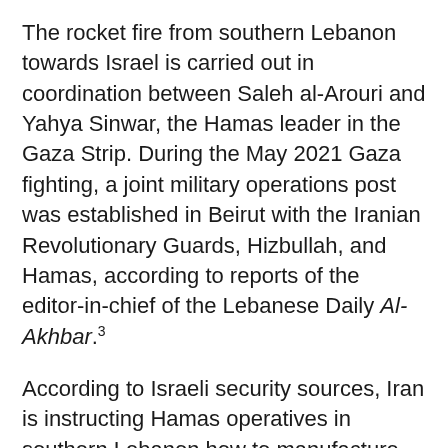The rocket fire from southern Lebanon towards Israel is carried out in coordination between Saleh al-Arouri and Yahya Sinwar, the Hamas leader in the Gaza Strip. During the May 2021 Gaza fighting, a joint military operations post was established in Beirut with the Iranian Revolutionary Guards, Hizbullah, and Hamas, according to reports of the editor-in-chief of the Lebanese Daily Al-Akhbar.³
According to Israeli security sources, Iran is instructing Hamas operatives in southern Lebanon how to manufacture rockets and drones. Hamas' manufacturing system in Lebanon is part of the organization's "construction department" and includes several workshops under the command of Majed Khader, who was based in Turkey and was transferred to Lebanon